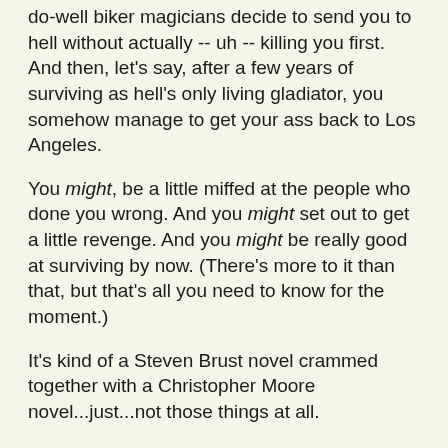do-well biker magicians decide to send you to hell without actually -- uh -- killing you first.  And then, let's say, after a few years of surviving as hell's only living gladiator, you somehow manage to get your ass back to Los Angeles.
You might, be a little miffed at the people who done you wrong. And you might set out to get a little revenge.  And you might be really good at surviving by now.  (There's more to it than that, but that's all you need to know for the moment.)
It's kind of a Steven Brust novel crammed together with a Christopher Moore novel...just...not those things at all.
Just pick it up.
AND...
You may recall (hey it was just a few days ago),  I talked about The Magicians by Lev Grossman.  For lack of a better description, I mentioned that it was being called "Harry Potter for adults".  Well, it turned really dark,  a chapter or so after what I had written.  It doesn't lose it's sense of humor